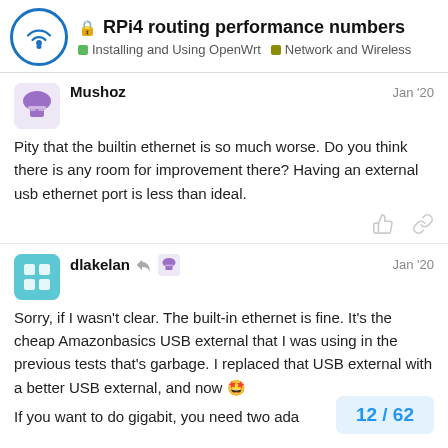RPi4 routing performance numbers | Installing and Using OpenWrt | Network and Wireless
Mushoz  Jan '20
Pity that the builtin ethernet is so much worse. Do you think there is any room for improvement there? Having an external usb ethernet port is less than ideal.
dlakelan  Jan '20
Sorry, if I wasn't clear. The built-in ethernet is fine. It's the cheap Amazonbasics USB external that I was using in the previous tests that's garbage. I replaced that USB external with a better USB external, and now 🤩
If you want to do gigabit, you need two ada
12 / 62